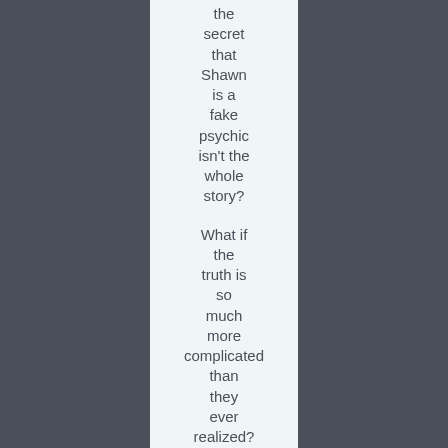the secret that Shawn is a fake psychic isn't the whole story?

What if the truth is so much more complicated than they ever realized?

When a case takes a strange turn, Shawn faces a difficult decision